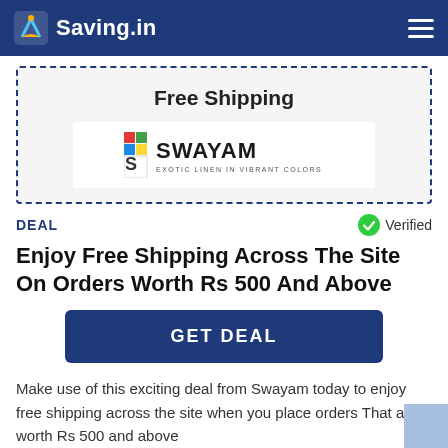Saving.in
Free Shipping
[Figure (logo): Swayam logo — EXOTIC LINEN IN VIBRANT COLORS]
DEAL
Verified
Enjoy Free Shipping Across The Site On Orders Worth Rs 500 And Above
GET DEAL
Make use of this exciting deal from Swayam today to enjoy free shipping across the site when you place orders That are worth Rs 500 and above